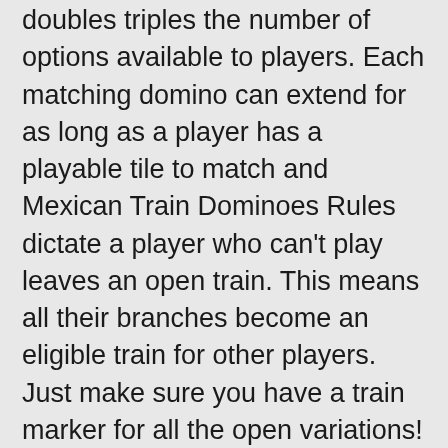doubles triples the number of options available to players. Each matching domino can extend for as long as a player has a playable tile to match and Mexican Train Dominoes Rules dictate a player who can't play leaves an open train. This means all their branches become an eligible train for other players. Just make sure you have a train marker for all the open variations!
Swan drive variation
In the swan drive Mexican Train variation, a player plays on their own train and may play a tile on each open public train moving